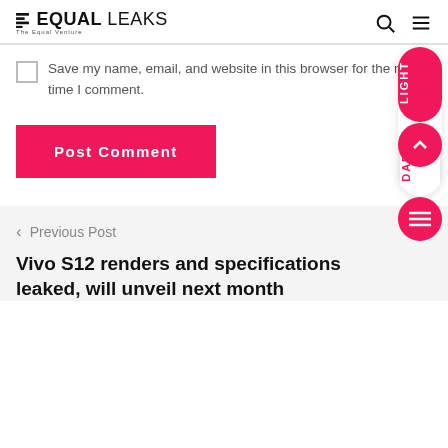EQUAL LEAKS — The Equal Venture
Save my name, email, and website in this browser for the next time I comment.
Post Comment
LIGHT
DARK
< Previous Post
Vivo S12 renders and specifications leaked, will unveil next month